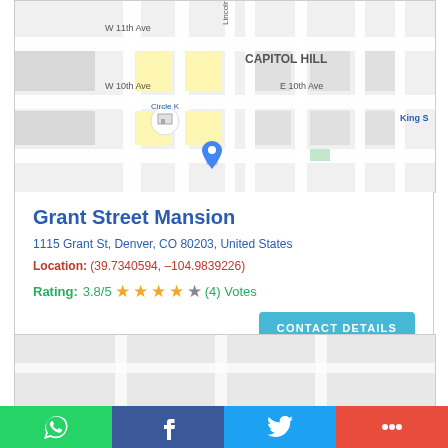[Figure (map): Google Maps screenshot showing Capitol Hill area in Denver, CO near Grant Street Mansion. Visible streets: W 11th Ave, W 10th Ave, E 10th Ave. Landmarks: Circle K, Capitol Hill label, King S(treet). Blue location pin visible.]
Grant Street Mansion
1115 Grant St, Denver, CO 80203, United States
Location: (39.7340594, -104.9839226)
Rating: 3.8/5 ★★★★☆ (4) Votes
[Figure (map): Second Google Maps screenshot showing the same area, partially visible, gray empty map.]
WhatsApp | Facebook | Twitter | More